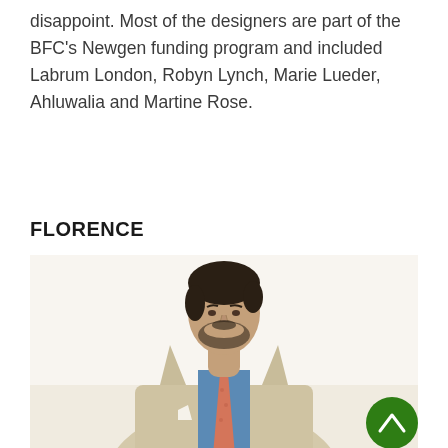disappoint. Most of the designers are part of the BFC's Newgen funding program and included Labrum London, Robyn Lynch, Marie Lueder, Ahluwalia and Martine Rose.
FLORENCE
[Figure (photo): A man wearing a beige/tan suit jacket with a blue shirt and coral/orange patterned tie, looking downward. He has dark hair and a beard. Light background.]